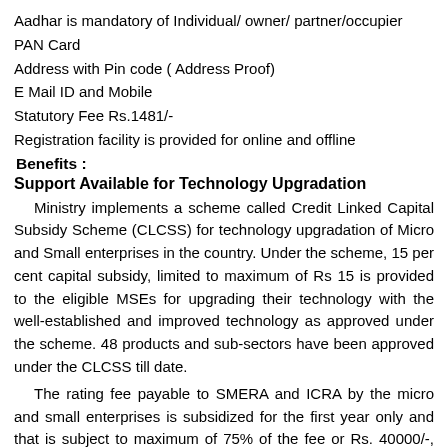Aadhar is mandatory of Individual/ owner/ partner/occupier
PAN Card
Address with Pin code ( Address Proof)
E Mail ID and Mobile
Statutory Fee Rs.1481/-
Registration facility is provided for online and offline
Benefits :
Support Available for Technology Upgradation
Ministry implements a scheme called Credit Linked Capital Subsidy Scheme (CLCSS) for technology upgradation of Micro and Small enterprises in the country. Under the scheme, 15 per cent capital subsidy, limited to maximum of Rs 15 is provided to the eligible MSEs for upgrading their technology with the well-established and improved technology as approved under the scheme. 48 products and sub-sectors have been approved under the CLCSS till date.
The rating fee payable to SMERA and ICRA by the micro and small enterprises is subsidized for the first year only and that is subject to maximum of 75% of the fee or Rs. 40000/-, whichever is less
Financing through banks available to MSME at Concessional